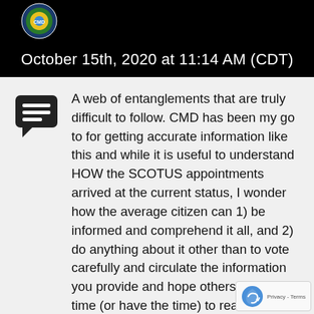[Figure (logo): Circular logo with blue/yellow/green colors on black background]
October 15th, 2020 at 11:14 AM (CDT)
A web of entanglements that are truly difficult to follow. CMD has been my go to for getting accurate information like this and while it is useful to understand HOW the SCOTUS appointments arrived at the current status, I wonder how the average citizen can 1) be informed and comprehend it all, and 2) do anything about it other than to vote carefully and circulate the information you provide and hope others take the time (or have the time) to read it. I have a question, though: What is the link, if any, to law clerk appointments for SCOTUS and the organizations cited here? To university fu... raising? I have been wondering if the long